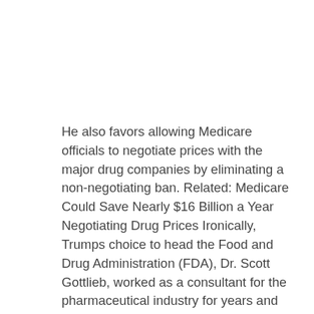He also favors allowing Medicare officials to negotiate prices with the major drug companies by eliminating a non-negotiating ban. Related: Medicare Could Save Nearly $16 Billion a Year Negotiating Drug Prices Ironically, Trumps choice to head the Food and Drug Administration (FDA), Dr. Scott Gottlieb, worked as a consultant for the pharmaceutical industry for years and was a sharp critic of those proposals during the 2016 presidential campaign. The Trump planwhile perhaps good politicswill offer consumers little relief, Gottlieb wrote in a March 2016 commentary in Forbes. But that was then, and this is now. During his confirmation hearing before the Senate Health, Education, Labor, and Pensions Committee Wednesday morning